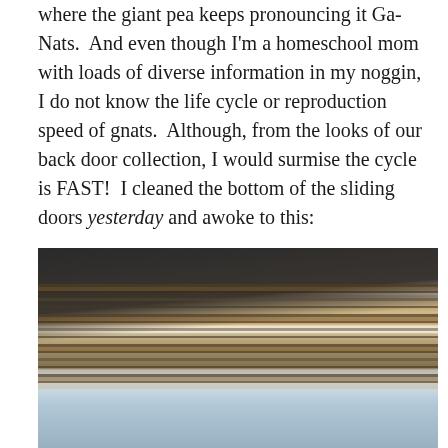where the giant pea keeps pronouncing it Ga-Nats.  And even though I'm a homeschool mom with loads of diverse information in my noggin, I do not know the life cycle or reproduction speed of gnats.  Although, from the looks of our back door collection, I would surmise the cycle is FAST!  I cleaned the bottom of the sliding doors yesterday and awoke to this:
[Figure (photo): Close-up photograph of the bottom track of a sliding glass door, showing heavy dirt and grime buildup along the white metal tracks, with a decorative blue and white rug visible at the bottom of the image.]